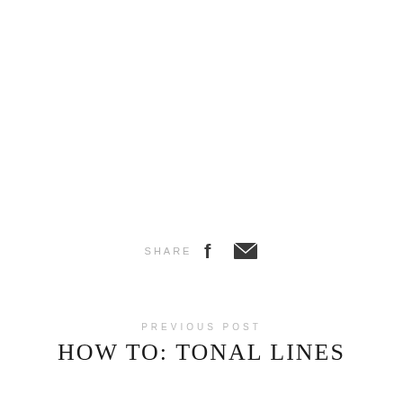SHARE
PREVIOUS POST
HOW TO: TONAL LINES